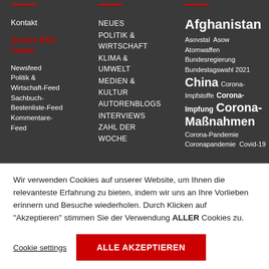Kontakt
Unsere RSS-Feeds:
Newsfeed
Politik & Wirtschaft-Feed
Sachbuch-Bestenliste-Feed
Kommentare-Feed
NEUES
POLITIK & WIRTSCHAFT
KLIMA & UMWELT
MEDIEN & KULTUR
AUTORENBLOGS
INTERVIEWS
ZAHL DER WOCHE
Afghanistan Asovstal Asow Atomwaffen Bundesregierung Bundestagswahl 2021 China Corona-Impfstoffe Corona-Impfung Corona-Maßnahmen Corona-Pandemie Coronapandemie Covid-19
Wir verwenden Cookies auf unserer Website, um Ihnen die relevanteste Erfahrung zu bieten, indem wir uns an Ihre Vorlieben erinnern und Besuche wiederholen. Durch Klicken auf "Akzeptieren" stimmen Sie der Verwendung ALLER Cookies zu.
Cookie settings
ALLE AKZEPTIEREN